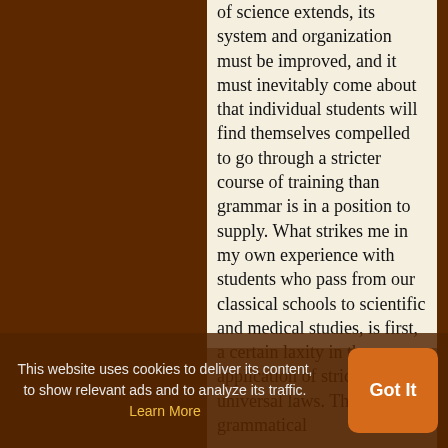of science extends, its system and organization must be improved, and it must inevitably come about that individual students will find themselves compelled to go through a stricter course of training than grammar is in a position to supply. What strikes me in my own experience with students who pass from our classical schools to scientific and medical studies, is first, a certain laxity in the application of strictly universal laws. The grammatical
This website uses cookies to deliver its content, to show relevant ads and to analyze its traffic. Learn More